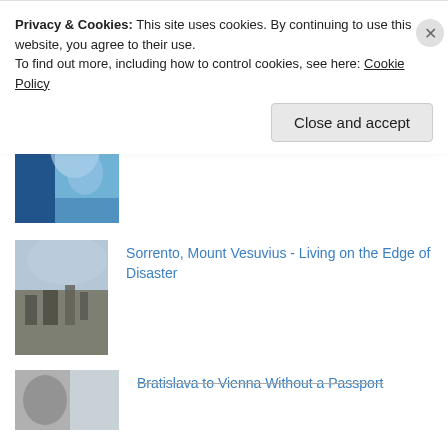[Figure (photo): Partial view of a religious or decorative image with red and gold tones, cropped at top]
[Figure (photo): Blue and white Greek door or wall with decorative elements]
Postcards of Greek Doors
[Figure (photo): Aerial view of a city with mountain in background, likely Sorrento or Naples area]
Sorrento, Mount Vesuvius - Living on the Edge of Disaster
[Figure (photo): Partial image, cropped, showing a face or figure]
Bratislava to Vienna Without a Passport
Privacy & Cookies: This site uses cookies. By continuing to use this website, you agree to their use.
To find out more, including how to control cookies, see here: Cookie Policy
Close and accept